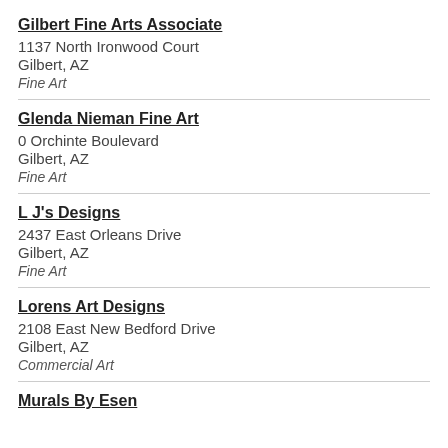Gilbert Fine Arts Associate
1137 North Ironwood Court
Gilbert, AZ
Fine Art
Glenda Nieman Fine Art
0 Orchinte Boulevard
Gilbert, AZ
Fine Art
L J's Designs
2437 East Orleans Drive
Gilbert, AZ
Fine Art
Lorens Art Designs
2108 East New Bedford Drive
Gilbert, AZ
Commercial Art
Murals By Esen